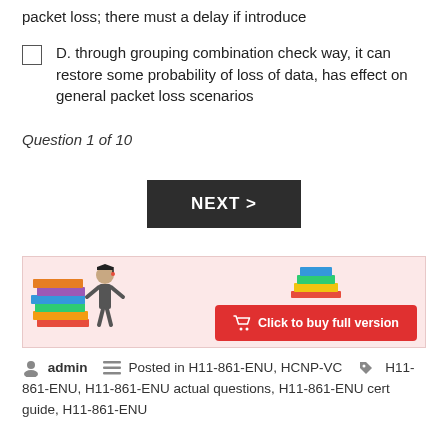packet loss; there must a delay if introduce
D. through grouping combination check way, it can restore some probability of loss of data, has effect on general packet loss scenarios
Question 1 of 10
[Figure (other): NEXT > button (dark background, white text)]
[Figure (illustration): Advertisement banner with cartoon figure holding books and a 'Click to buy full version' red button]
admin  Posted in H11-861-ENU, HCNP-VC  H11-861-ENU, H11-861-ENU actual questions, H11-861-ENU cert guide, H11-861-ENU